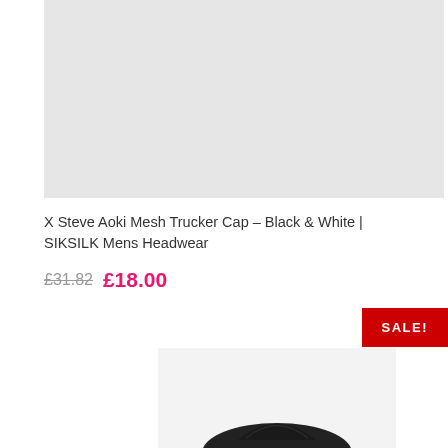[Figure (photo): Product image placeholder - light gray background for hat product]
X Steve Aoki Mesh Trucker Cap – Black & White | SIKSILK Mens Headwear
£31.82  £18.00
SALE!
[Figure (photo): Second product image showing dark hat on light background]